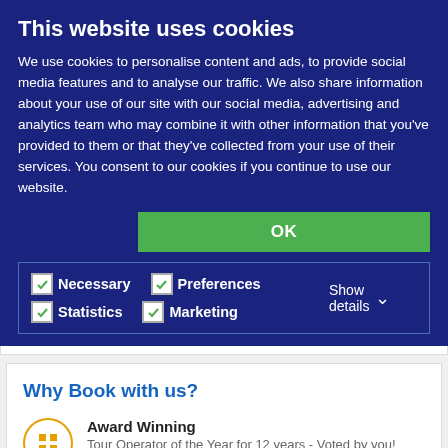This website uses cookies
We use cookies to personalise content and ads, to provide social media features and to analyse our traffic. We also share information about your use of our site with our social media, advertising and analytics team who may combine it with other information that you've provided to them or that they've collected from your use of their services. You consent to our cookies if you continue to use our website.
OK
Necessary  Preferences  Statistics  Marketing  Show details
dive@scubatravel.com
Why Book with us?
Award Winning
Tour Operator of the Year for 12 years - Voted by you!
Atol Bonded Holidays